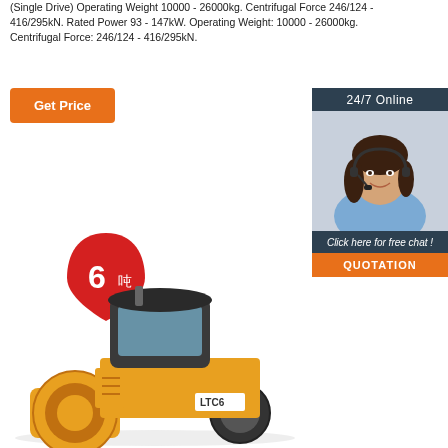(Single Drive) Operating Weight 10000 - 26000kg. Centrifugal Force 246/124 - 416/295kN. Rated Power 93 - 147kW. Operating Weight: 10000 - 26000kg. Centrifugal Force: 246/124 - 416/295kN.
Get Price
[Figure (photo): Customer service agent (woman with headset), 24/7 Online chat box with QUOTATION button]
[Figure (photo): Yellow road roller LTC6 with red 6-ton badge, viewed from front-left side]